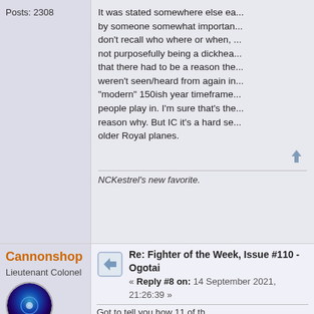Posts: 2308
It was stated somewhere else ea... by someone somewhat importan... don't recall who where or when, ... not purposefully being a dickhea... that there had to be a reason the... weren't seen/heard from again in... "modern" 150ish year timeframe... people play in. I'm sure that's the... reason why. But IC it's a hard se... older Royal planes.
NCKestrel's new favorite.
Cannonshop
Lieutenant Colonel
Posts: 7988
Re: Fighter of the Week, Issue #110 - Ogotai « Reply #8 on: 14 September 2021, 21:26:39 »